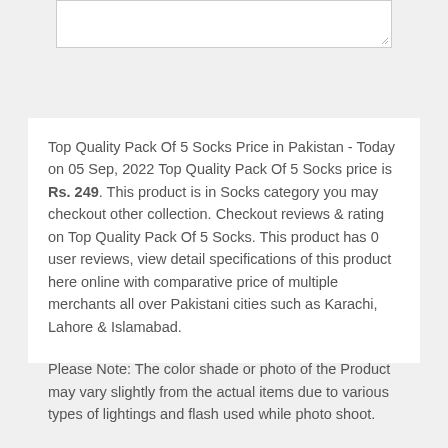[Figure (other): A white text input box with a resize handle in the bottom-right corner]
Top Quality Pack Of 5 Socks Price in Pakistan - Today on 05 Sep, 2022 Top Quality Pack Of 5 Socks price is Rs. 249. This product is in Socks category you may checkout other collection. Checkout reviews & rating on Top Quality Pack Of 5 Socks. This product has 0 user reviews, view detail specifications of this product here online with comparative price of multiple merchants all over Pakistani cities such as Karachi, Lahore & Islamabad.
Please Note: The color shade or photo of the Product may vary slightly from the actual items due to various types of lightings and flash used while photo shoot.